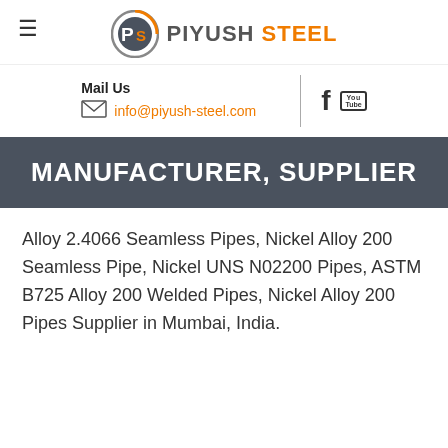[Figure (logo): Piyush Steel logo with PS circular emblem and brand name PIYUSH STEEL in grey and orange]
Mail Us
info@piyush-steel.com
MANUFACTURER, SUPPLIER
Alloy 2.4066 Seamless Pipes, Nickel Alloy 200 Seamless Pipe, Nickel UNS N02200 Pipes, ASTM B725 Alloy 200 Welded Pipes, Nickel Alloy 200 Pipes Supplier in Mumbai, India.